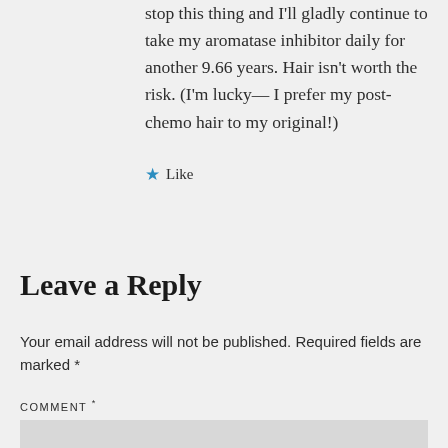stop this thing and I'll gladly continue to take my aromatase inhibitor daily for another 9.66 years. Hair isn't worth the risk. (I'm lucky— I prefer my post-chemo hair to my original!)
★ Like
Leave a Reply
Your email address will not be published. Required fields are marked *
COMMENT *